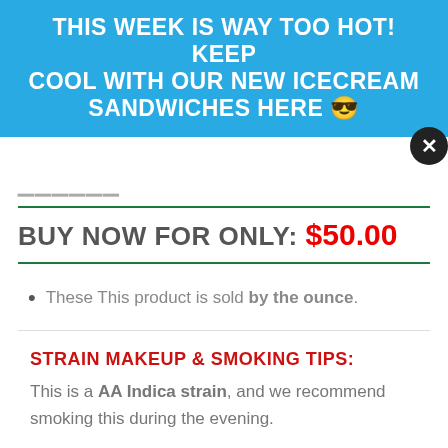THIS WEEK IS WAY TOO HOT! KEEP COOL WITH OUR NEW ICECREAM SANDWICHES HERE 😎
BUY NOW FOR ONLY: $50.00
These This product is sold by the ounce.
STRAIN MAKEUP & SMOKING TIPS:
This is a AA Indica strain, and we recommend smoking this during the evening.